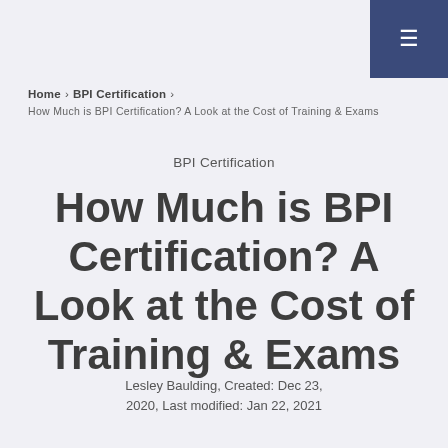≡
Home › BPI Certification ›
How Much is BPI Certification? A Look at the Cost of Training & Exams
BPI Certification
How Much is BPI Certification? A Look at the Cost of Training & Exams
Lesley Baulding, Created: Dec 23, 2020, Last modified: Jan 22, 2021